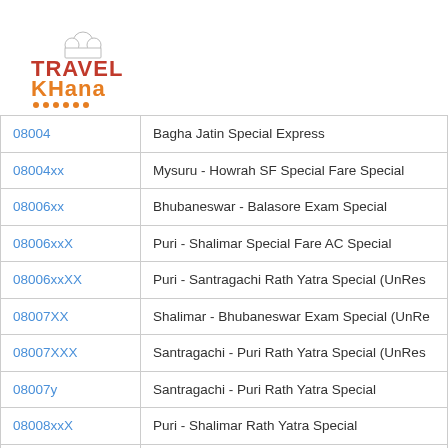[Figure (logo): Travel Khana logo with chef hat icon, 'TRAVEL' in red bold text and 'KHana' in orange bold text with orange dots underline]
| 08004 | Bagha Jatin Special Express |
| 08004xx | Mysuru - Howrah SF Special Fare Special |
| 08006xx | Bhubaneswar - Balasore Exam Special |
| 08006xxX | Puri - Shalimar Special Fare AC Special |
| 08006xxXX | Puri - Santragachi Rath Yatra Special (UnRes |
| 08007XX | Shalimar - Bhubaneswar Exam Special (UnRe |
| 08007XXX | Santragachi - Puri Rath Yatra Special (UnRes |
| 08007y | Santragachi - Puri Rath Yatra Special |
| 08008xxX | Puri - Shalimar Rath Yatra Special |
| 08013X | Shalimar - Puri Gundicha festival Special |